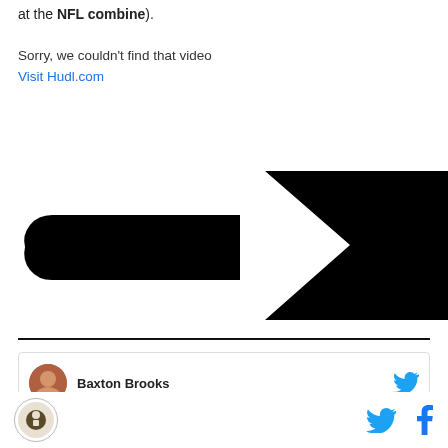at the NFL combine).
Sorry, we couldn't find that video
Visit Hudl.com
[Figure (logo): Hudl logo — large black arrow/play-button shaped logo on white background]
Baxton Brooks | Twitter | Facebook social icons and site logo